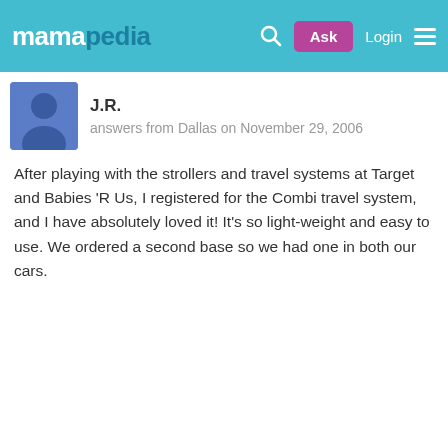mamapedia — Ask Login
J.R.
answers from Dallas on November 29, 2006
After playing with the strollers and travel systems at Target and Babies 'R Us, I registered for the Combi travel system, and I have absolutely loved it! It's so light-weight and easy to use. We ordered a second base so we had one in both our cars.